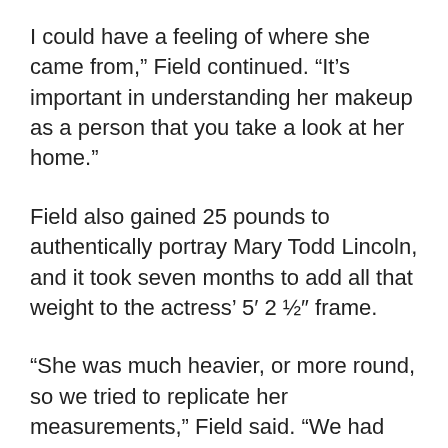I could have a feeling of where she came from,” Field continued. “It’s important in understanding her makeup as a person that you take a look at her home.”
Field also gained 25 pounds to authentically portray Mary Todd Lincoln, and it took seven months to add all that weight to the actress’ 5′ 2 ½” frame.
“She was much heavier, or more round, so we tried to replicate her measurements,” Field said. “We had her dress size, because it’s documented when they made dresses for her… We replicated what she was, and it wasn’t easy. It was sort of horrifying to be a woman of a